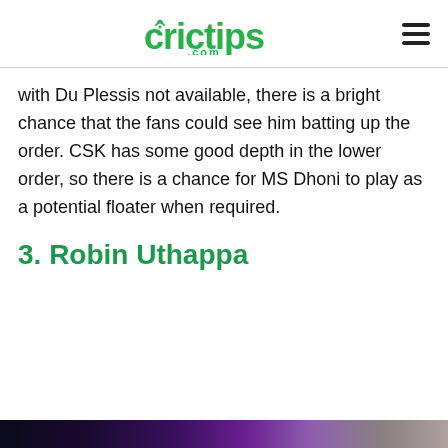crictips.com
with Du Plessis not available, there is a bright chance that the fans could see him batting up the order. CSK has some good depth in the lower order, so there is a chance for MS Dhoni to play as a potential floater when required.
3. Robin Uthappa
[Figure (photo): Partial image visible at the bottom of the page, appears to be a cricket-related photo.]